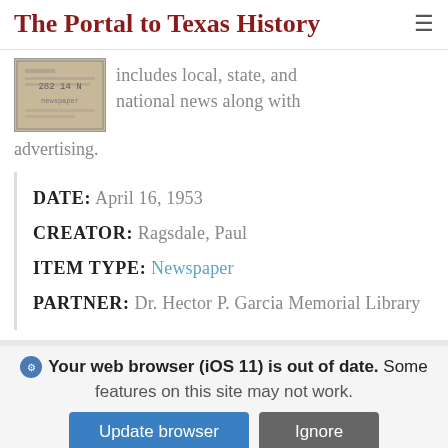The Portal to Texas History
[Figure (photo): Thumbnail image of a newspaper page, sepia-toned]
includes local, state, and national news along with advertising.
DATE: April 16, 1953
CREATOR: Ragsdale, Paul
ITEM TYPE: Newspaper
PARTNER: Dr. Hector P. Garcia Memorial Library
Your web browser (iOS 11) is out of date. Some features on this site may not work.